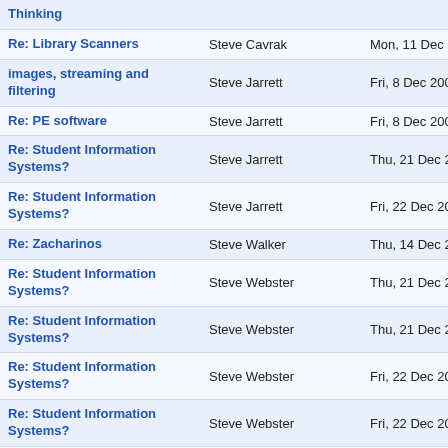| Subject | From | Date |
| --- | --- | --- |
| Thinking |  |  |
| Re: Library Scanners | Steve Cavrak | Mon, 11 Dec 2006 10:14 |
| images, streaming and filtering | Steve Jarrett | Fri, 8 Dec 2006 13:01:47 |
| Re: PE software | Steve Jarrett | Fri, 8 Dec 2006 08:17:28 |
| Re: Student Information Systems? | Steve Jarrett | Thu, 21 Dec 2006 08:02 |
| Re: Student Information Systems? | Steve Jarrett | Fri, 22 Dec 2006 08:10:0 |
| Re: Zacharinos | Steve Walker | Thu, 14 Dec 2006 14:33 |
| Re: Student Information Systems? | Steve Webster | Thu, 21 Dec 2006 08:53 |
| Re: Student Information Systems? | Steve Webster | Thu, 21 Dec 2006 15:38 |
| Re: Student Information Systems? | Steve Webster | Fri, 22 Dec 2006 14:06:2 |
| Re: Student Information Systems? | Steve Webster | Fri, 22 Dec 2006 14:30:4 |